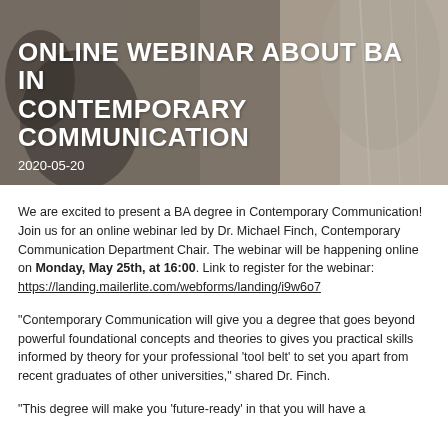[Figure (photo): Hero banner image with a person in background, overlaid with large white uppercase text about an online webinar for BA in Contemporary Communication]
ONLINE WEBINAR ABOUT BA IN CONTEMPORARY COMMUNICATION
2020-05-20
We are excited to present a BA degree in Contemporary Communication! Join us for an online webinar led by Dr. Michael Finch, Contemporary Communication Department Chair. The webinar will be happening online on Monday, May 25th, at 16:00. Link to register for the webinar: https://landing.mailerlite.com/webforms/landing/i9w6o7
"Contemporary Communication will give you a degree that goes beyond powerful foundational concepts and theories to gives you practical skills informed by theory for your professional 'tool belt' to set you apart from recent graduates of other universities," shared Dr. Finch.
"This degree will make you 'future-ready' in that you will have a